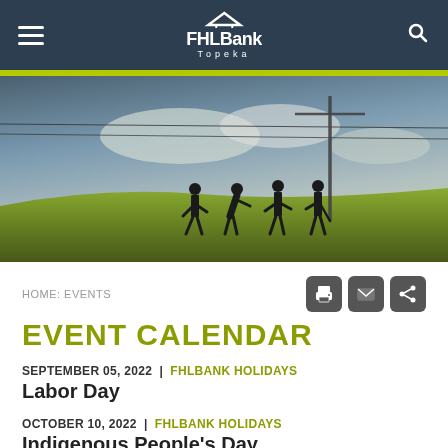[Figure (screenshot): FHLBank Topeka website navigation bar with hamburger menu, FHLBank Topeka logo centered, and search icon on the right, on dark navy background]
[Figure (photo): Hero banner photo showing silhouettes of four people on a green golf course with a cloudy sky and power line in the background]
HOME: EVENTS
EVENT CALENDAR
SEPTEMBER 05, 2022 | FHLBANK HOLIDAYS
Labor Day
OCTOBER 10, 2022 | FHLBANK HOLIDAYS
Indigenous People's Day